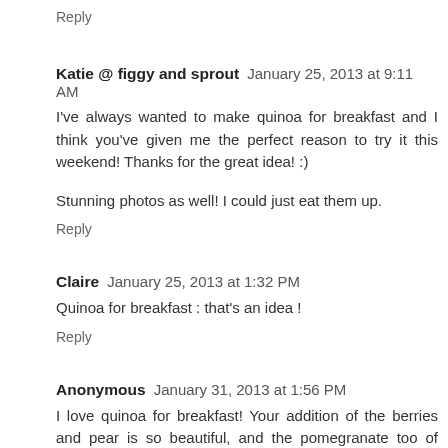Reply
Katie @ figgy and sprout  January 25, 2013 at 9:11 AM
I've always wanted to make quinoa for breakfast and I think you've given me the perfect reason to try it this weekend! Thanks for the great idea! :)
Stunning photos as well! I could just eat them up.
Reply
Claire  January 25, 2013 at 1:32 PM
Quinoa for breakfast : that's an idea !
Reply
Anonymous  January 31, 2013 at 1:56 PM
I love quinoa for breakfast! Your addition of the berries and pear is so beautiful, and the pomegranate too of course ;)